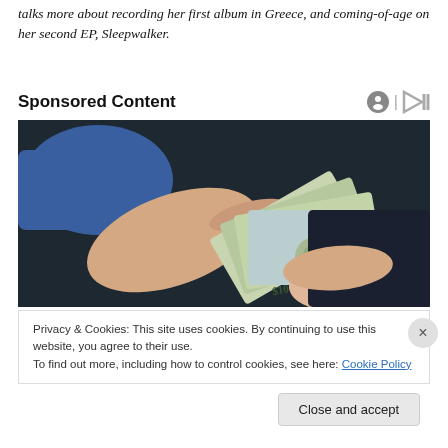talks more about recording her first album in Greece, and coming-of-age on her second EP, Sleepwalker.
Sponsored Content
[Figure (photo): Two hands exchanging US dollar bills (100 dollar bills fanned out), one hand in a blue sleeve pointing toward the money, dark background.]
Privacy & Cookies: This site uses cookies. By continuing to use this website, you agree to their use.
To find out more, including how to control cookies, see here: Cookie Policy
Close and accept